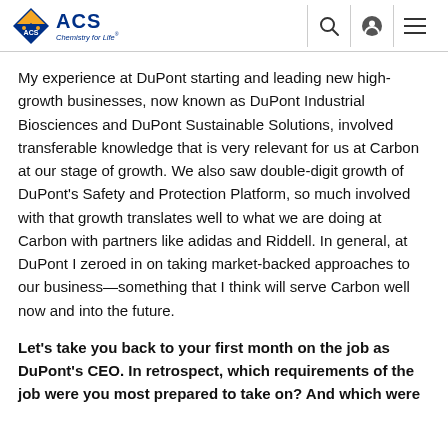ACS Chemistry for Life
My experience at DuPont starting and leading new high-growth businesses, now known as DuPont Industrial Biosciences and DuPont Sustainable Solutions, involved transferable knowledge that is very relevant for us at Carbon at our stage of growth. We also saw double-digit growth of DuPont's Safety and Protection Platform, so much involved with that growth translates well to what we are doing at Carbon with partners like adidas and Riddell. In general, at DuPont I zeroed in on taking market-backed approaches to our business—something that I think will serve Carbon well now and into the future.
Let's take you back to your first month on the job as DuPont's CEO. In retrospect, which requirements of the job were you most prepared to take on? And which were you least prepared to navigate?